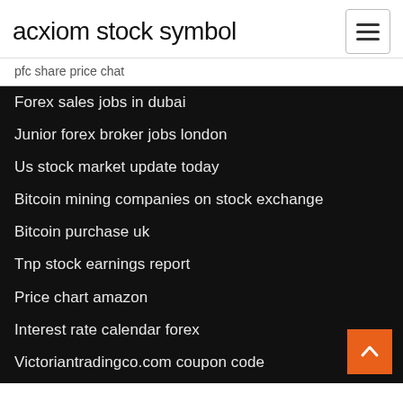acxiom stock symbol
pfc share price chat
Forex sales jobs in dubai
Junior forex broker jobs london
Us stock market update today
Bitcoin mining companies on stock exchange
Bitcoin purchase uk
Tnp stock earnings report
Price chart amazon
Interest rate calendar forex
Victoriantradingco.com coupon code
Kla-tencor inc stock price